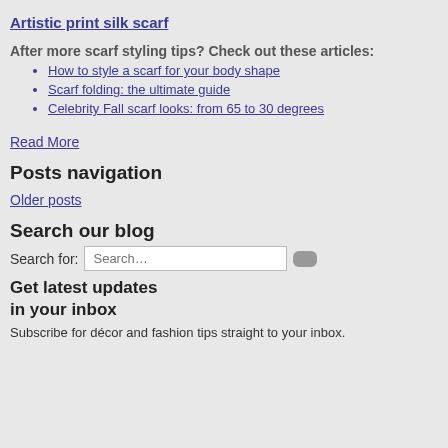Artistic print silk scarf
After more scarf styling tips? Check out these articles:
How to style a scarf for your body shape
Scarf folding: the ultimate guide
Celebrity Fall scarf looks: from 65 to 30 degrees
Read More
Posts navigation
Older posts
Search our blog
Search for:
Get latest updates
in your inbox
Subscribe for décor and fashion tips straight to your inbox.